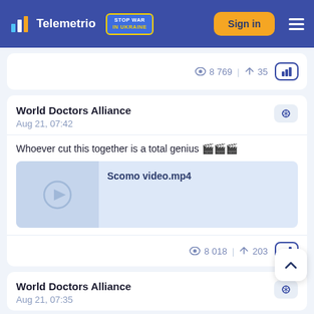Telemetrio | STOP WAR IN UKRAINE | Sign in
8 769 | 35
World Doctors Alliance
Aug 21, 07:42
Whoever cut this together is a total genius 🎬🎬🎬
[Figure (other): Video attachment thumbnail with play button, filename: Scomo video.mp4]
8 018 | 203
World Doctors Alliance
Aug 21, 07:35